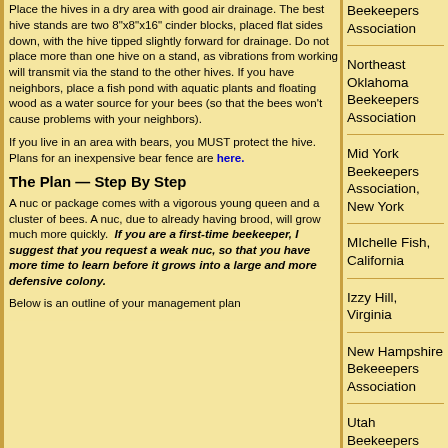Place the hives in a dry area with good air drainage.  The best hive stands are two 8"x8"x16" cinder blocks, placed flat sides down, with the hive tipped slightly forward for drainage.  Do not place more than one hive on a stand, as vibrations from working will transmit via the stand to the other hives.  If you have neighbors, place a fish pond with aquatic plants and floating wood as a water source for your bees (so that the bees won't cause problems with your neighbors).
If you live in an area with bears, you MUST protect the hive.  Plans for an inexpensive bear fence are here.
The Plan — Step By Step
A nuc or package comes with a vigorous young queen and a cluster of bees.  A nuc, due to already having brood, will grow much more quickly.  If you are a first-time beekeeper, I suggest that you request a weak nuc, so that you have more time to learn before it grows into a large and more defensive colony.
Below is an outline of your management plan
Beekeepers Association
Northeast Oklahoma Beekeepers Association
Mid York Beekeepers Association, New York
MIchelle Fish, California
Izzy Hill, Virginia
New Hampshire Bekeeepers Association
Utah Beekeepers Association